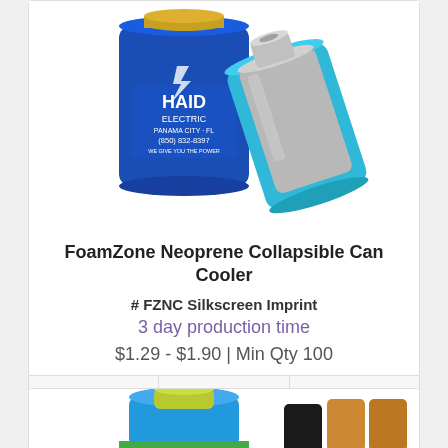[Figure (photo): Two neoprene collapsible can coolers — one dark blue with 'HAID ELECTRIC PANAMA CITY FL (850) 832-8397 WE GIVE YOU THE POWER' imprint, one light blue/cyan with a stylized logo and a silver beverage can inside.]
FoamZone Neoprene Collapsible Can Cooler
# FZNC Silkscreen Imprint
3 day production time
$1.29 - $1.90 | Min Qty 100
[Figure (photo): Partial view of a second product card showing can coolers at the bottom of the page.]